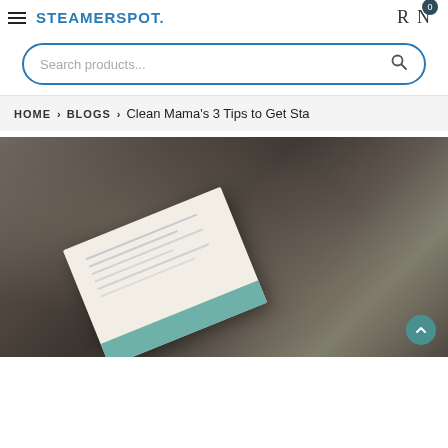STEAMERSPOT. | Navigation header with search, R and N(0) icons
Search products...
HOME > BLOGS > Clean Mama's 3 Tips to Get Sta
[Figure (photo): A blurred background with a book/pamphlet in lower center, teal accent at bottom, dark gray stone-like backdrop]